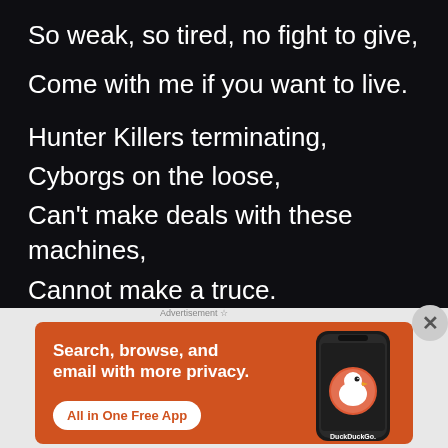So weak, so tired, no fight to give,
Come with me if you want to live.

Hunter Killers terminating,
Cyborgs on the loose,
Can't make deals with these machines,
Cannot make a truce.
Metal men, from future time,
Just one thing that's on their mind,
Killing all that's humankind.
[Figure (infographic): DuckDuckGo advertisement banner with orange background. Text reads 'Search, browse, and email with more privacy. All in One Free App' with a DuckDuckGo logo and phone graphic on the right.]